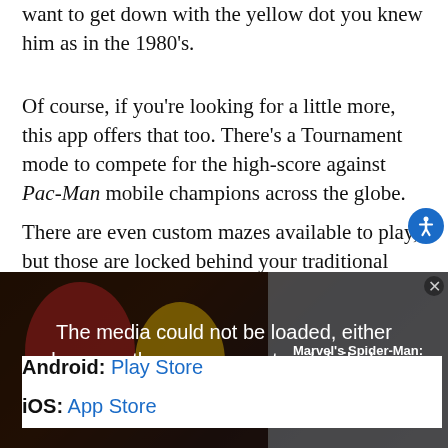want to get down with the yellow dot you knew him as in the 1980's.
Of course, if you're looking for a little more, this app offers that too. There's a Tournament mode to compete for the high-score against Pac-Man mobile champions across the globe.
There are even custom mazes available to play, but those are locked behind your traditional wait- or pay-to-play sort of setup. Otherwise, the game is free to
[Figure (screenshot): Video player overlay showing 'The media could not be loaded, either because the server or network failed or because the format is not supported.' with an X mark. Right panel shows 'Marvel's Spider-Man: Launch Trailer'.]
Android: Play Store
iOS: App Store